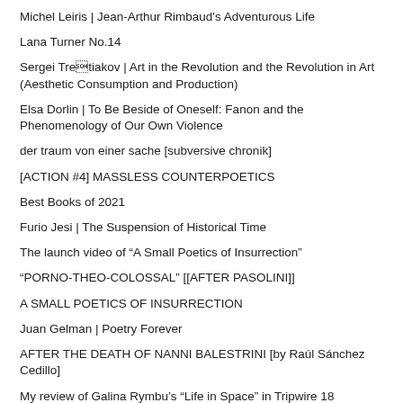Michel Leiris | Jean-Arthur Rimbaud's Adventurous Life
Lana Turner No.14
Sergei Tretiakov | Art in the Revolution and the Revolution in Art (Aesthetic Consumption and Production)
Elsa Dorlin | To Be Beside of Oneself: Fanon and the Phenomenology of Our Own Violence
der traum von einer sache [subversive chronik]
[ACTION #4] MASSLESS COUNTERPOETICS
Best Books of 2021
Furio Jesi | The Suspension of Historical Time
The launch video of “A Small Poetics of Insurrection”
“PORNO-THEO-COLOSSAL” [[AFTER PASOLINI]]
A SMALL POETICS OF INSURRECTION
Juan Gelman | Poetry Forever
AFTER THE DEATH OF NANNI BALESTRINI [by Raúl Sánchez Cedillo]
My review of Galina Rymbu’s “Life in Space” in Tripwire 18
Interview with Pierre Guyotat [Pierre Testard / Gwénaël Pouliquen, April 2020]
Nanni Balestrini | No Tears for the Roses